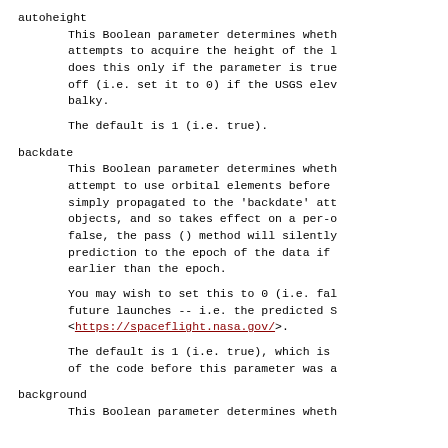autoheight
This Boolean parameter determines whether attempts to acquire the height of the l does this only if the parameter is true off (i.e. set it to 0) if the USGS elev balky.

The default is 1 (i.e. true).
backdate
This Boolean parameter determines whether attempt to use orbital elements before simply propagated to the 'backdate' att objects, and so takes effect on a per-o false, the pass () method will silently prediction to the epoch of the data if earlier than the epoch.

You may wish to set this to 0 (i.e. false) for future launches -- i.e. the predicted S <https://spaceflight.nasa.gov/>.

The default is 1 (i.e. true), which is of the code before this parameter was a
background
This Boolean parameter determines whether